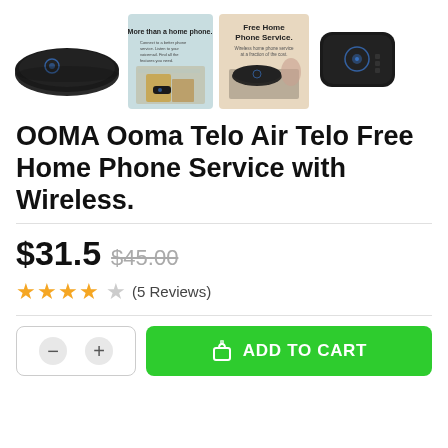[Figure (photo): Four product images of the Ooma Telo Air device: a flat black oval device, a lifestyle marketing image with text 'More than a home phone.' showing furniture and device, an image with text 'Free Home Phone Service.' showing the device on a table, and a top-down view of the black device.]
OOMA Ooma Telo Air Telo Free Home Phone Service with Wireless.
$31.5  $45.00
★★★★☆ (5 Reviews)
ADD TO CART